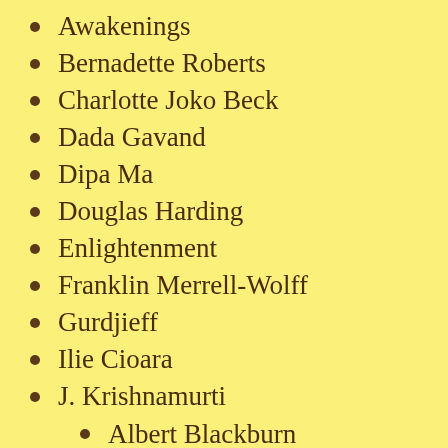Awakenings
Bernadette Roberts
Charlotte Joko Beck
Dada Gavand
Dipa Ma
Douglas Harding
Enlightenment
Franklin Merrell-Wolff
Gurdjieff
Ilie Cioara
J. Krishnamurti
Albert Blackburn
Vimala Thakar
Jakob Boehme
Jean Klein
Francis Lucille